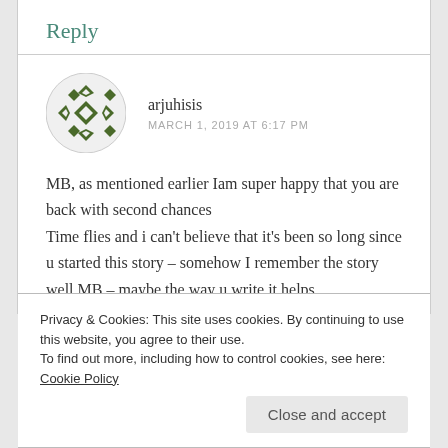Reply
[Figure (illustration): Circular avatar icon with a geometric green diamond/arrow pattern on white background]
arjuhisis
MARCH 1, 2019 AT 6:17 PM
MB, as mentioned earlier Iam super happy that you are back with second chances
Time flies and i can't believe that it's been so long since u started this story – somehow I remember the story well MB – maybe the way u write it helps
Privacy & Cookies: This site uses cookies. By continuing to use this website, you agree to their use.
To find out more, including how to control cookies, see here: Cookie Policy
Close and accept